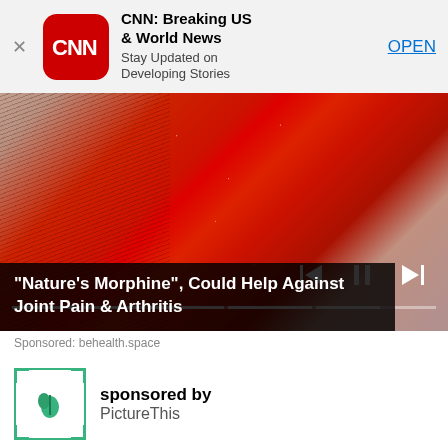[Figure (screenshot): CNN app advertisement banner with CNN logo, title 'CNN: Breaking US & World News', subtitle 'Stay Updated on Developing Stories', and OPEN button]
[Figure (photo): Close-up macro photo of what appears to be a strawberry surface with seeds visible and fingerprint texture, with video playback controls overlay]
"Nature's Morphine", Could Help Against Joint Pain & Arthritis
Sponsored: behealth.space
sponsored by
PictureThis